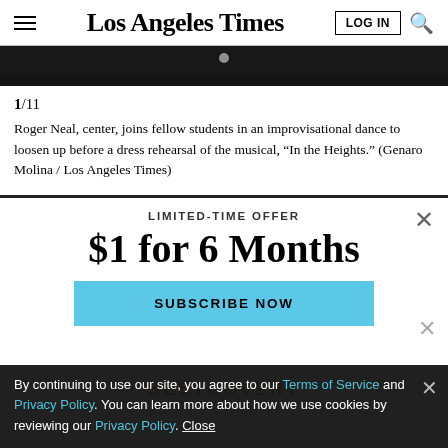Los Angeles Times
[Figure (photo): Dark strip showing part of a photo related to a musical performance]
1/11
Roger Neal, center, joins fellow students in an improvisational dance to loosen up before a dress rehearsal of the musical, “In the Heights.” (Genaro Molina / Los Angeles Times)
LIMITED-TIME OFFER
$1 for 6 Months
SUBSCRIBE NOW
By continuing to use our site, you agree to our Terms of Service and Privacy Policy. You can learn more about how we use cookies by reviewing our Privacy Policy. Close